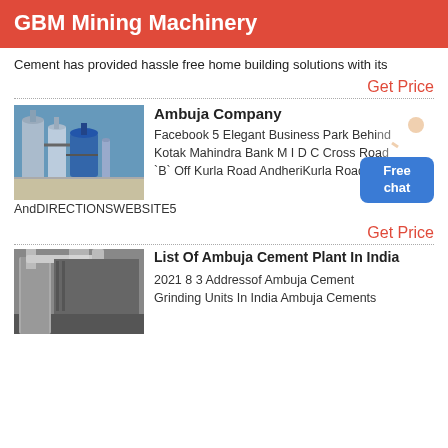GBM Mining Machinery
Cement has provided hassle free home building solutions with its
Get Price
[Figure (photo): Industrial cement plant machinery with silos and tanks against blue sky]
Ambuja Company
Facebook 5 Elegant Business Park Behind Kotak Mahindra Bank M I D C Cross Road `B` Off Kurla Road AndheriKurla Road AndDIRECTIONSWEBSITE5
[Figure (illustration): Customer service representative figure with Free chat bubble]
Get Price
[Figure (photo): Indoor industrial cement grinding unit with pipes and machinery]
List Of Ambuja Cement Plant In India
2021 8 3 Addressof Ambuja Cement Grinding Units In India Ambuja Cements